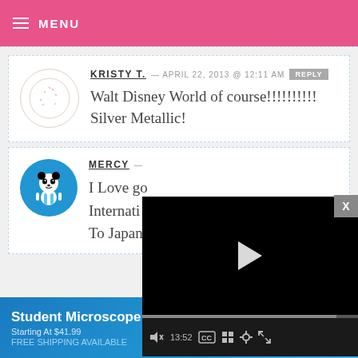MENU
KRISTY T. — APRIL 22, 2013 @ 12:11 AM REPLY
Walt Disney World of course!!!!!!!!!!
Silver Metallic!
MERCY —
I Love go...
Internati...
To Japan!
[Figure (screenshot): Video player overlay with black screen, play button, progress bar at 13:52, and controls including mute, CC, grid, settings, and fullscreen icons]
Student Microscope Bundles
Starting At $41.99
FREE SHIPPING AVAILABLE